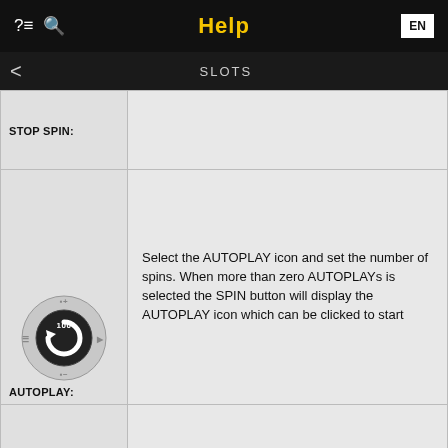Help
SLOTS
| Icon/Label | Description |
| --- | --- |
| STOP SPIN: |  |
| [autoplay icon] AUTOPLAY: | Select the AUTOPLAY icon and set the number of spins. When more than zero AUTOPLAYs is selected the SPIN button will display the AUTOPLAY icon which can be clicked to start |
| [stop autoplay icon] STOP AUTOPLAY: | Once auto play begins the SPIN button turns into a STOP AUTOPLAY. |
| [partial icon] |  |